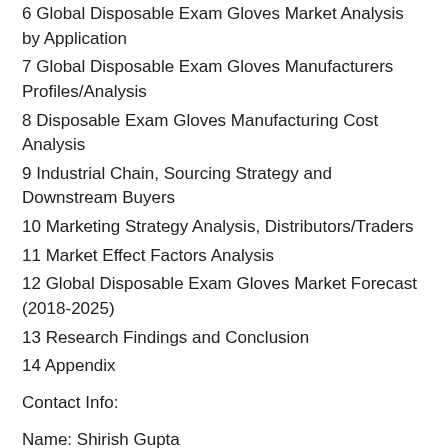6 Global Disposable Exam Gloves Market Analysis by Application
7 Global Disposable Exam Gloves Manufacturers Profiles/Analysis
8 Disposable Exam Gloves Manufacturing Cost Analysis
9 Industrial Chain, Sourcing Strategy and Downstream Buyers
10 Marketing Strategy Analysis, Distributors/Traders
11 Market Effect Factors Analysis
12 Global Disposable Exam Gloves Market Forecast (2018-2025)
13 Research Findings and Conclusion
14 Appendix
Contact Info:
Name: Shirish Gupta
Email: Send Email